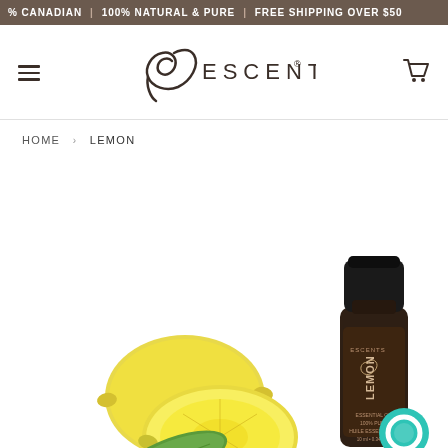% CANADIAN | 100% NATURAL & PURE | FREE SHIPPING OVER $50
[Figure (logo): Escents aromatherapy logo with a stylized leaf/loop mark and the word ESCENTS with registered trademark symbol]
HOME › LEMON
[Figure (photo): A dark amber glass bottle of Escents Lemon Essential Oil (10ml) labeled 'LEMON Essential Oil 100% Pure Huile Essentielle' with lemons and a green leaf beside it. A teal chat bubble icon appears in the bottom right.]